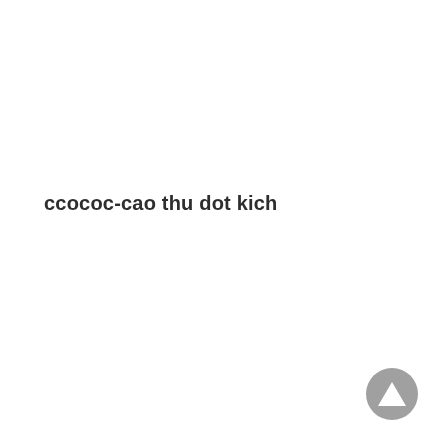ccococ-cao thu dot kich
[Figure (other): A circular grey button with a white upward-pointing triangle/play arrow icon, positioned at the bottom-right of the page.]